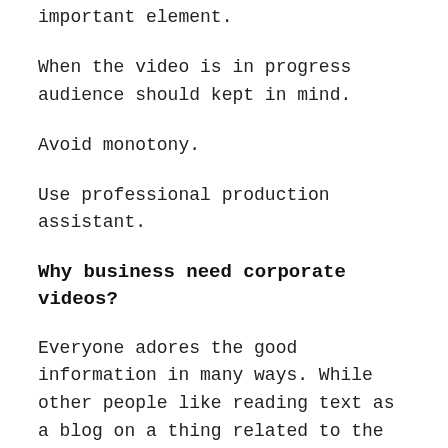important element.
When the video is in progress audience should kept in mind.
Avoid monotony.
Use professional production assistant.
Why business need corporate videos?
Everyone adores the good information in many ways. While other people like reading text as a blog on a thing related to the company, many people like to watch a video for the information of product. They are brilliant marketing tactics. Every company has a marketing strategy and according to that